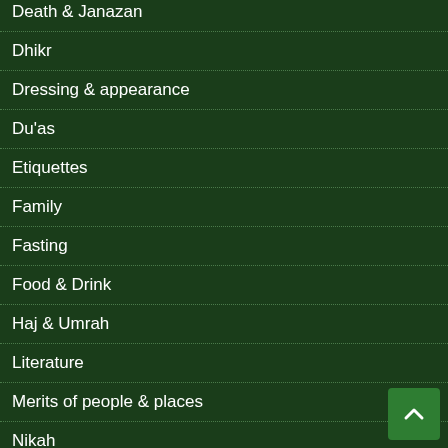Death & Janazan
Dhikr
Dressing & appearance
Du'as
Etiquettes
Family
Fasting
Food & Drink
Haj & Umrah
Literature
Merits of people & places
Nikah
Prohibitions
Qiyamah
Quran